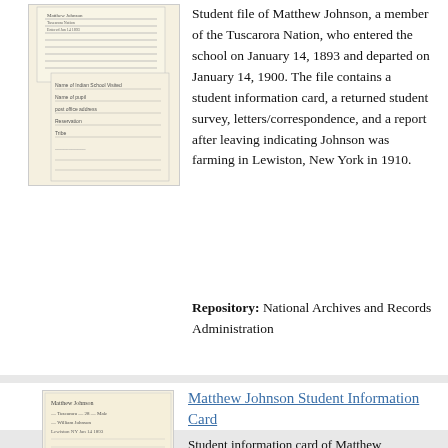[Figure (photo): Thumbnail image of handwritten student file documents — two overlapping pages showing lined paper with handwritten and form text]
Student file of Matthew Johnson, a member of the Tuscarora Nation, who entered the school on January 14, 1893 and departed on January 14, 1900. The file contains a student information card, a returned student survey, letters/correspondence, and a report after leaving indicating Johnson was farming in Lewiston, New York in 1910.
Repository: National Archives and Records Administration
[Figure (photo): Thumbnail image of Matthew Johnson Student Information Card — handwritten form with cursive text on yellowed paper]
Matthew Johnson Student Information Card
Student information card of Matthew